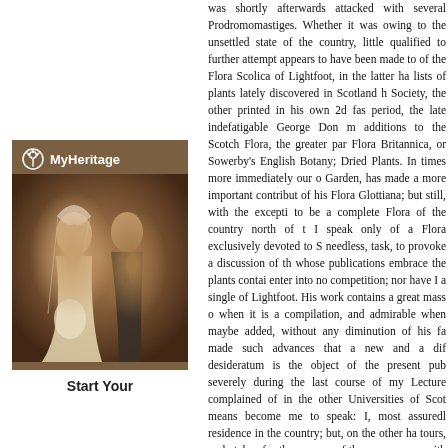[Figure (photo): MyHeritage advertisement showing a sepia-toned vintage wedding photograph of a bride and groom. The MyHeritage logo (tree icon and text) appears at the top of the image box. Below the photo is the text 'Start Your'.]
was shortly afterwards attacked with several Prodromomastiges. Whether it was owing to the unsettled state of the country, little qualified to further attempt appears to have been made to of the Flora Scolica of Lightfoot, in the latter ha lists of plants lately discovered in Scotland h Society, the other printed in his own 2d fas period, the late indefatigable George Don m additions to the Scotch Flora, the greater par Flora Britannica, or Sowerby's English Botany; Dried Plants. In times more immediately our o Garden, has made a more important contribut of his Flora Glottiana; but still, with the excepti to be a complete Flora of the country north of t I speak only of a Flora exclusively devoted to S needless, task, to provoke a discussion of th whose publications embrace the plants contai enter into no competition; nor have I a single of Lightfoot. His work contains a great mass o when it is a compilation, and admirable when maybe added, without any diminution of his fa made such advances that a new and a dif desideratum is the object of the present pub severely during the last course of my Lecture complained of in the other Universities of Scot means become me to speak: I, most assuredl residence in the country; but, on the other ha tours, undertaken for the purpose of the cu company with Mr. Borrer, the other with Mr. Tu part of the country, have rendered me, in so